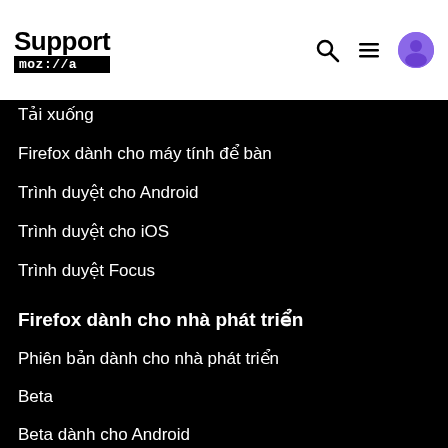Support moz://a
Tải xuống
Firefox dành cho máy tính để bàn
Trình duyệt cho Android
Trình duyệt cho iOS
Trình duyệt Focus
Firefox dành cho nhà phát triển
Phiên bản dành cho nhà phát triển
Beta
Beta dành cho Android
Nightly
Nightly dành cho Android